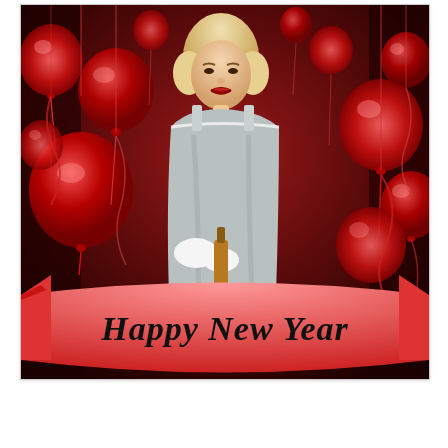[Figure (photo): Vintage retro photograph of a blonde woman in a grey strapless outfit and white gloves holding a champagne bottle, surrounded by red balloons and streamers, with a 'Happy New Year' banner in old English blackletter font across the bottom, on a dark red festive background.]